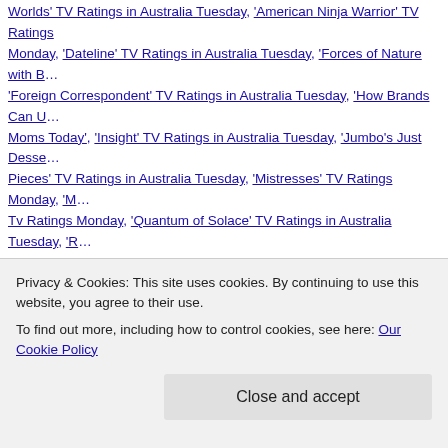Worlds' TV Ratings in Australia Tuesday, 'American Ninja Warrior' TV Ratings Monday, 'Dateline' TV Ratings in Australia Tuesday, 'Forces of Nature with B… 'Foreign Correspondent' TV Ratings in Australia Tuesday, 'How Brands Can U… Moms Today', 'Insight' TV Ratings in Australia Tuesday, 'Jumbo's Just Desse… Pieces' TV Ratings in Australia Tuesday, 'Mistresses' TV Ratings Monday, 'M… Tv Ratings Monday, 'Quantum of Solace' TV Ratings in Australia Tuesday, 'R… Monday 082216, 'Running wild with Bear Grylls' TV Ratings Monday, 'Señora… Monday 082216, 'Seven News' #1 newscast in AU Monday 082216, 'Seven N… 082316, 'Seven' #1 in AU Monday 082216, 'So You Think You Can Dance?' T… in Australia Tuesday 082316, 'The Royals Who Rescued The Monarchy' TV R… Ratings Tuesday in Australia, 'Zumbo's Just Desserts' #1 program in Australi… Australia Tuesday, A Current Affair TV Ratings in Australia Tuesday, ABC Tv R… Australia Tuesday, ABC TV Ratings Monday, BBC One TV Ratings in the UK… 082216, BBC Two TV Ratings in the UK Monday, Catalyst TV Ratings in Aust… Channel 4 TV Ratings in the UK Monday, Channel 5 TV Ratings in the UK Mo… Ratings in the UK Monday, FOX TV Ratings Monday, Home and Away TV Ra… in the UK Monday, Lance Hanish, Latest Social Media platform stats, NBC TV… Australia Tuesday, NCIS: Los Angeles TV Ratings in Australia Tuesday, Nine…
Privacy & Cookies: This site uses cookies. By continuing to use this website, you agree to their use.
To find out more, including how to control cookies, see here: Our Cookie Policy